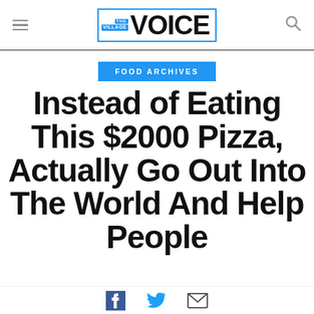the village VOICE
FOOD ARCHIVES
Instead of Eating This $2000 Pizza, Actually Go Out Into The World And Help People